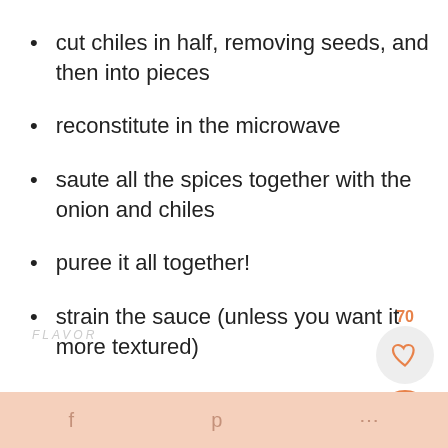cut chiles in half, removing seeds, and then into pieces
reconstitute in the microwave
saute all the spices together with the onion and chiles
puree it all together!
strain the sauce (unless you want it more textured)
simmer for a few more minutes because
f   p   ...